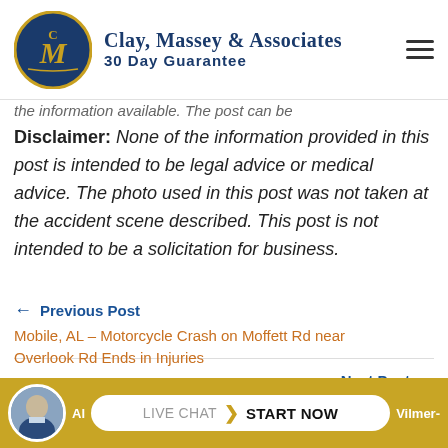Clay, Massey & Associates 30 Day Guarantee
...the information available. The post can be
Disclaimer: None of the information provided in this post is intended to be legal advice or medical advice. The photo used in this post was not taken at the accident scene described. This post is not intended to be a solicitation for business.
← Previous Post
Mobile, AL – Motorcycle Crash on Moffett Rd near Overlook Rd Ends in Injuries
Next Post →
[Figure (photo): Attorney headshot photo in circular frame at bottom left]
LIVE CHAT ❯ START NOW